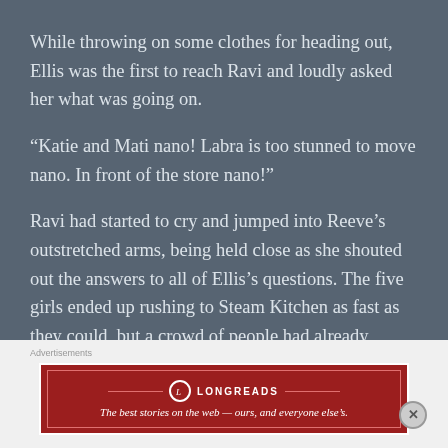While throwing on some clothes for heading out, Ellis was the first to reach Ravi and loudly asked her what was going on.
“Katie and Mati nano! Labra is too stunned to move nano. In front of the store nano!”
Ravi had started to cry and jumped into Reeve’s outstretched arms, being held close as she shouted out the answers to all of Ellis’s questions. The five girls ended up rushing to Steam Kitchen as fast as they could, but a crowd of people had already gathered there.
[Figure (logo): Longreads advertisement banner with red background, logo, and tagline: The best stories on the web — ours, and everyone else’s.]